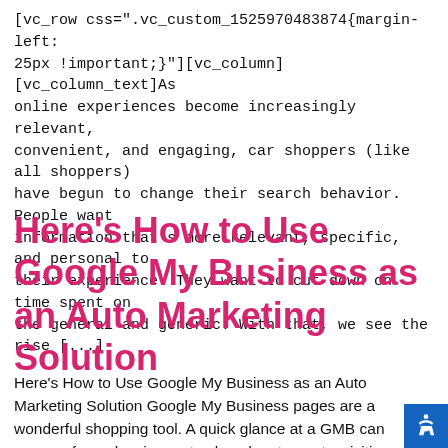[vc_row css=".vc_custom_1525970483874{margin-left: 25px !important;}"][vc_column][vc_column_text]As online experiences become increasingly relevant, convenient, and engaging, car shoppers (like all shoppers) have begun to change their search behavior. People want information that's more relevant, specific, and personal to their experience. They want to cut down on time spent on the general and generic. With that, we see the rise [...]
Here's How to Use Google My Business as an Auto Marketing Solution
Here's How to Use Google My Business as an Auto Marketing Solution Google My Business pages are a wonderful shopping tool. A quick glance at a GMB can save us from showing up to closed restaurants, visiting the gym at crowded peak hours, or hiring that creepy locksmith. W